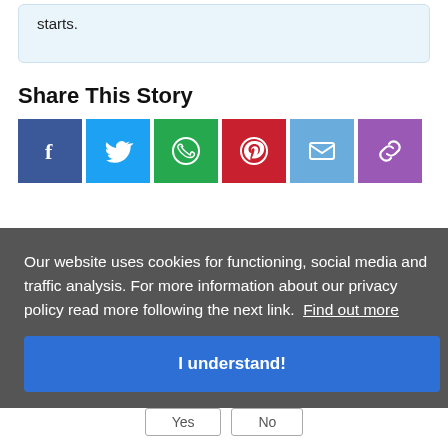starts.
Share This Story
[Figure (other): Social sharing buttons: Facebook, Twitter, WhatsApp, Pinterest, Email, Copy Link]
Our website uses cookies for functioning, social media and traffic analysis. For more information about our privacy policy read more following the next link. Find out more
I understand!
Was this helpful?
Yes   No